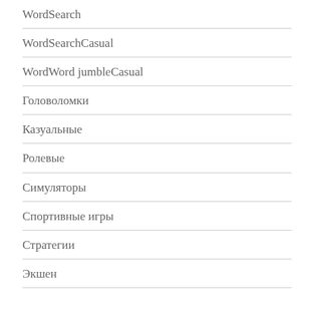WordSearch
WordSearchCasual
WordWord jumbleCasual
Головоломки
Казуальные
Ролевые
Симуляторы
Спортивные игры
Стратегии
Экшен